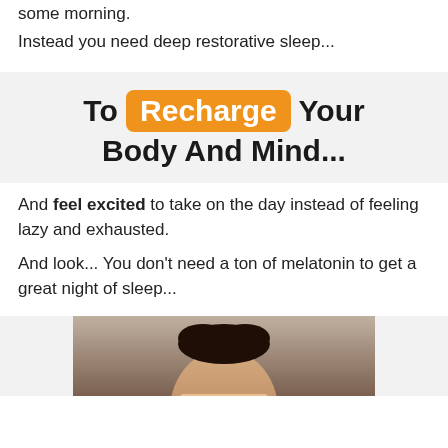some morning.
Instead you need deep restorative sleep...
To Recharge Your Body And Mind...
And feel excited to take on the day instead of feeling lazy and exhausted.
And look... You don't need a ton of melatonin to get a great night of sleep...
[Figure (photo): Photo of a person, partially cropped at bottom of page]